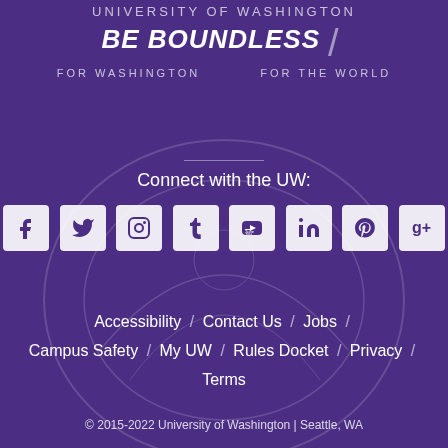UNIVERSITY OF WASHINGTON
BE BOUNDLESS / FOR WASHINGTON / FOR THE WORLD
Connect with the UW:
[Figure (other): Row of 8 social media icons: Facebook, Twitter, Instagram, Tumblr, YouTube, LinkedIn, Pinterest, Google+]
Accessibility / Contact Us / Jobs / Campus Safety / My UW / Rules Docket / Privacy / Terms
© 2015-2022 University of Washington | Seattle, WA